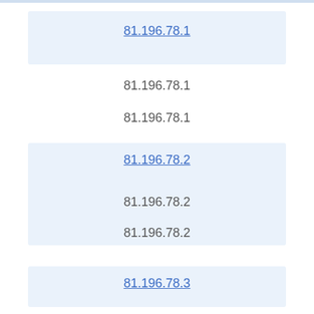81.196.78.1 (link)
81.196.78.1
81.196.78.1
81.196.78.2 (link)
81.196.78.2
81.196.78.2
81.196.78.3 (link)
81.196.78.3